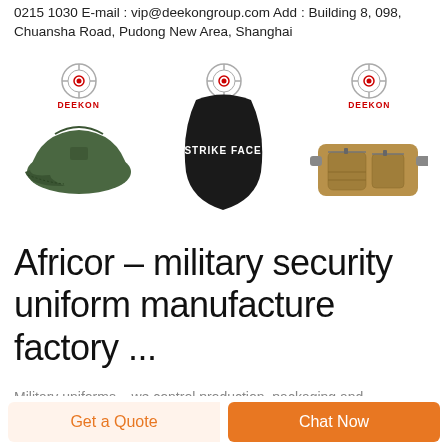0215 1030 E-mail : vip@deekongroup.com Add : Building 8, 098, Chuansha Road, Pudong New Area, Shanghai
[Figure (photo): Three product images from Deekon: a green military cap, a black body armor plate with 'STRIKE FACE' text, and a tan tactical waist bag. Each product has a Deekon logo above it.]
Africor - military security uniform manufacture factory ...
Military uniforms – we control production, packaging and